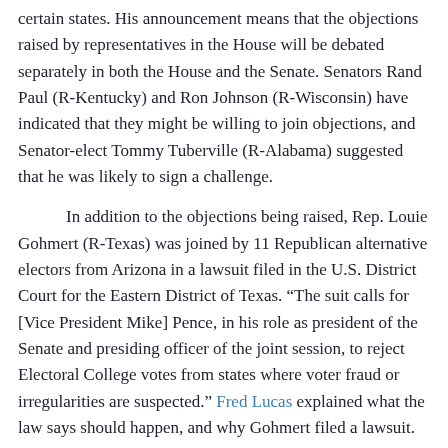certain states. His announcement means that the objections raised by representatives in the House will be debated separately in both the House and the Senate. Senators Rand Paul (R-Kentucky) and Ron Johnson (R-Wisconsin) have indicated that they might be willing to join objections, and Senator-elect Tommy Tuberville (R-Alabama) suggested that he was likely to sign a challenge.
In addition to the objections being raised, Rep. Louie Gohmert (R-Texas) was joined by 11 Republican alternative electors from Arizona in a lawsuit filed in the U.S. District Court for the Eastern District of Texas. “The suit calls for [Vice President Mike] Pence, in his role as president of the Senate and presiding officer of the joint session, to reject Electoral College votes from states where voter fraud or irregularities are suspected.” Fred Lucas explained what the law says should happen, and why Gohmert filed a lawsuit.
The Electoral Count Act of 1887 requires a joint session of Congress to count the Electoral College votes from each state and stipulates that the vice president, as presiding officer, will certify the results.